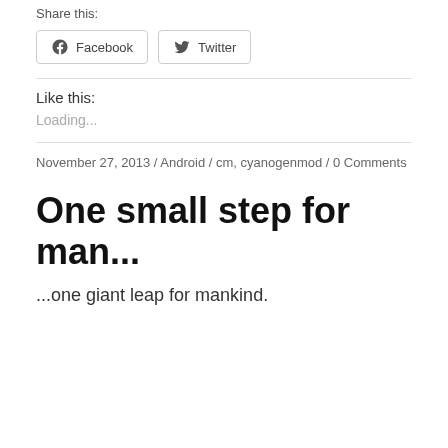Share this:
Facebook   Twitter
Like this:
Loading...
November 27, 2013 / Android / cm, cyanogenmod / 0 Comments
One small step for man...
...one giant leap for mankind.